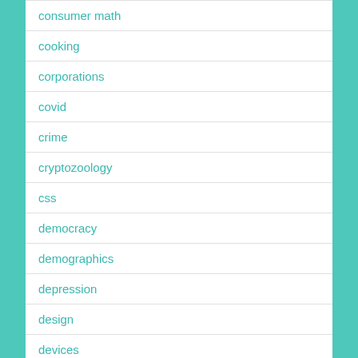consumer math
cooking
corporations
covid
crime
cryptozoology
css
democracy
demographics
depression
design
devices